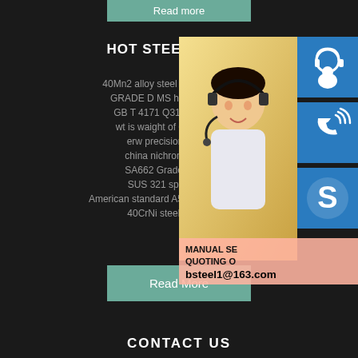Read more
HOT STEEL PROD
40Mn2 alloy steel seamless pipe
GRADE D MS hot rolled ship
GB T 4171 Q310GNH spec
wt is waight of 6mm thikne
erw precision steel tu
china nichrome 60 fac
SA662 Grade A suppli
SUS 321 specificatio
American standard A572 Grade 60 ang
40CrNi steel in Israel
Read More
[Figure (photo): Customer service representative with headset overlay with icons for chat, phone, Skype and contact email bsteel1@163.com]
CONTACT US